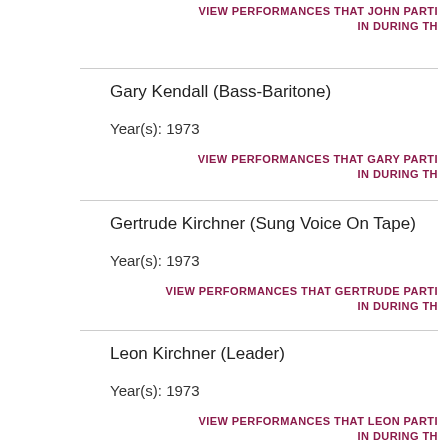VIEW PERFORMANCES THAT JOHN PARTI IN DURING TH
Gary Kendall (Bass-Baritone)
Year(s): 1973
VIEW PERFORMANCES THAT GARY PARTI IN DURING TH
Gertrude Kirchner (Sung Voice On Tape)
Year(s): 1973
VIEW PERFORMANCES THAT GERTRUDE PARTI IN DURING TH
Leon Kirchner (Leader)
Year(s): 1973
VIEW PERFORMANCES THAT LEON PARTI IN DURING TH